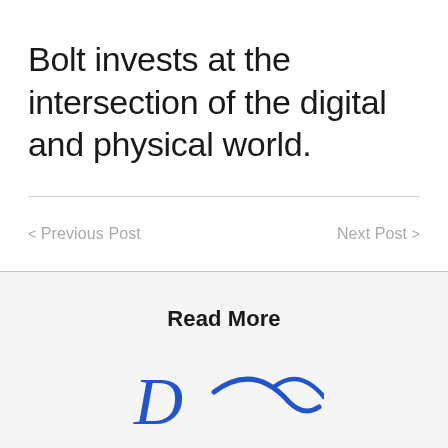Bolt invests at the intersection of the digital and physical world.
< Previous Post
Next Post >
Read More
[Figure (logo): Partial blue logo visible at the bottom of the page, appears to be a company logo with curved blue letterforms]